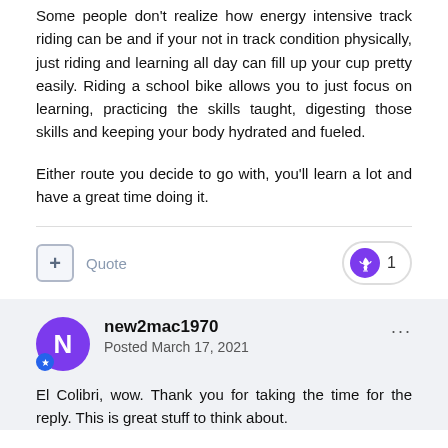Some people don't realize how energy intensive track riding can be and if your not in track condition physically, just riding and learning all day can fill up your cup pretty easily. Riding a school bike allows you to just focus on learning, practicing the skills taught, digesting those skills and keeping your body hydrated and fueled.
Either route you decide to go with, you'll learn a lot and have a great time doing it.
new2mac1970
Posted March 17, 2021
El Colibri, wow. Thank you for taking the time for the reply. This is great stuff to think about.